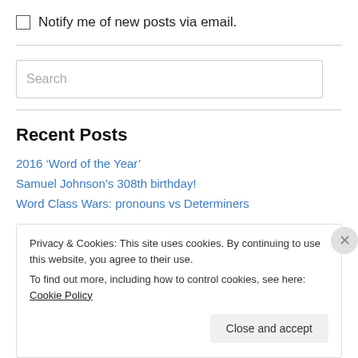Notify me of new posts via email.
[Figure (screenshot): Search input box with placeholder text 'Search']
Recent Posts
2016 ‘Word of the Year’
Samuel Johnson’s 308th birthday!
Word Class Wars: pronouns vs Determiners
Privacy & Cookies: This site uses cookies. By continuing to use this website, you agree to their use. To find out more, including how to control cookies, see here: Cookie Policy